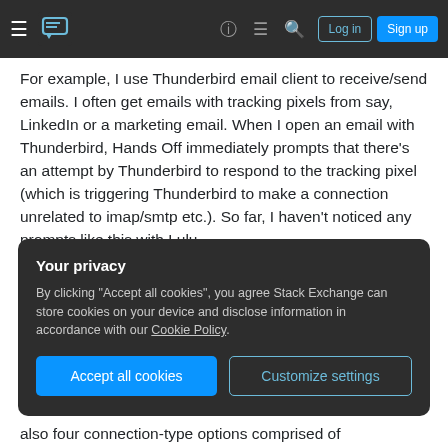Stack Exchange navigation bar with hamburger menu, logo, help, chat, search icons, Log in and Sign up buttons
For example, I use Thunderbird email client to receive/send emails. I often get emails with tracking pixels from say, LinkedIn or a marketing email. When I open an email with Thunderbird, Hands Off immediately prompts that there's an attempt by Thunderbird to respond to the tracking pixel (which is triggering Thunderbird to make a connection unrelated to imap/smtp etc.). So far, I haven't noticed any prompts like this with Lulu.
Your privacy
By clicking "Accept all cookies", you agree Stack Exchange can store cookies on your device and disclose information in accordance with our Cookie Policy.
also four connection-type options comprised of